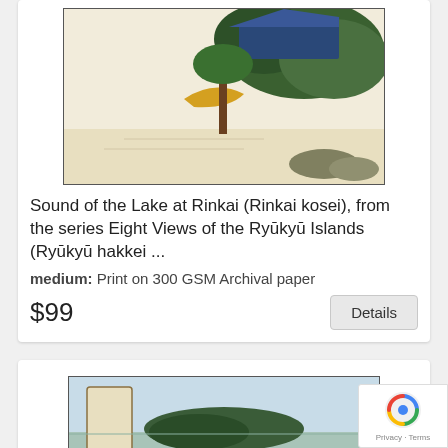[Figure (illustration): Japanese woodblock print artwork showing a lakeside scene with trees and a structure, displayed in a framed card]
Sound of the Lake at Rinkai (Rinkai kosei), from the series Eight Views of the Ryūkyū Islands (Ryūkyū hakkei ...
medium: Print on 300 GSM Archival paper
$99
[Figure (illustration): Second Japanese woodblock print artwork partially visible, showing a landscape with mountains, displayed in a framed card]
[Figure (other): reCAPTCHA badge with Privacy and Terms text]